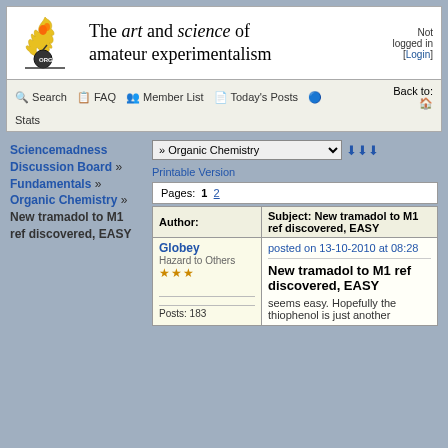[Figure (logo): Sciencemadness.org logo with flame and ORG text]
The art and science of amateur experimentalism
Not logged in [Login]
Search  FAQ  Member List  Today's Posts  Stats  Back to:
Sciencemadness Discussion Board » Fundamentals » Organic Chemistry » New tramadol to M1 ref discovered, EASY
» Organic Chemistry
Printable Version
Pages: 1 2
| Author: | Subject: New tramadol to M1 ref discovered, EASY |
| --- | --- |
| Globey
Hazard to Others
***

Posts: 183 | posted on 13-10-2010 at 08:28

New tramadol to M1 ref discovered, EASY

seems easy. Hopefully the thiophenol is just another |